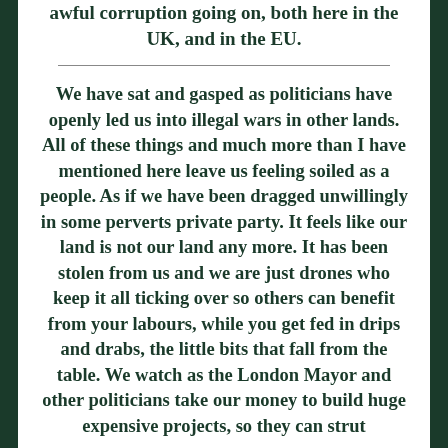awful corruption going on, both here in the UK, and in the EU.
We have sat and gasped as politicians have openly led us into illegal wars in other lands. All of these things and much more than I have mentioned here leave us feeling soiled as a people. As if we have been dragged unwillingly in some perverts private party. It feels like our land is not our land any more. It has been stolen from us and we are just drones who keep it all ticking over so others can benefit from your labours, while you get fed in drips and drabs, the little bits that fall from the table. We watch as the London Mayor and other politicians take our money to build huge expensive projects, so they can strut